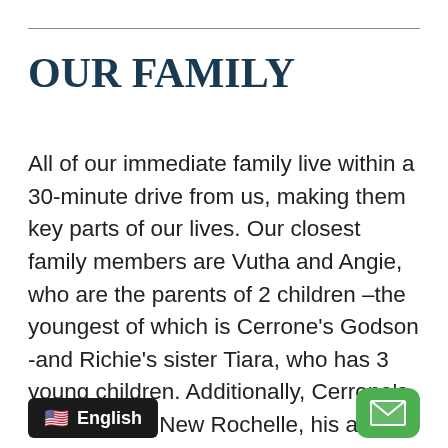OUR FAMILY
All of our immediate family live within a 30-minute drive from us, making them key parts of our lives. Our closest family members are Vutha and Angie, who are the parents of 2 children –the youngest of which is Cerrone's Godson -and Richie's sister Tiara, who has 3 young children. Additionally, Cerrone's mom lives in New Rochelle, his aunt and his grandmother live in queens, and Richards parents live in Brooklyn. We're a tight kn- fam- -pend on each other for advice,